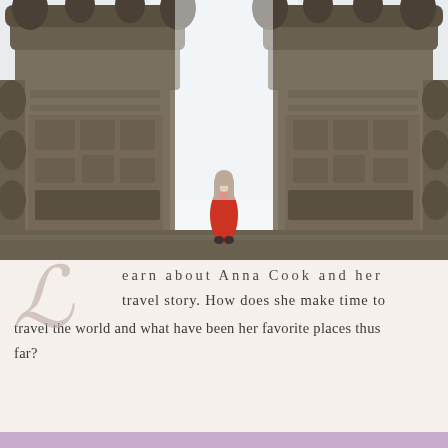[Figure (photo): A woman in a red dress standing between two large ornate Balinese temple gates (split gate / candi bentar) on a misty foggy day, viewed from behind. The stone gates have intricate carvings and the background is white/foggy sky.]
Learn about Anna Cook and her travel story. How does she make time to travel the world and what have been her favorite places thus far?